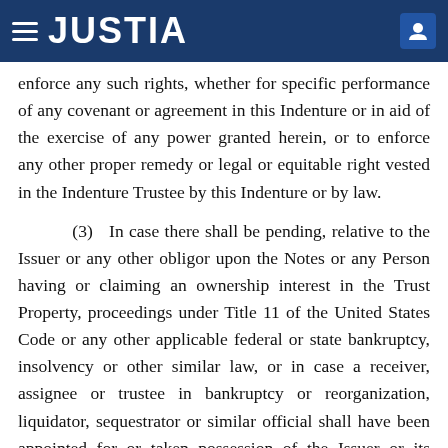JUSTIA
enforce any such rights, whether for specific performance of any covenant or agreement in this Indenture or in aid of the exercise of any power granted herein, or to enforce any other proper remedy or legal or equitable right vested in the Indenture Trustee by this Indenture or by law.
(3) In case there shall be pending, relative to the Issuer or any other obligor upon the Notes or any Person having or claiming an ownership interest in the Trust Property, proceedings under Title 11 of the United States Code or any other applicable federal or state bankruptcy, insolvency or other similar law, or in case a receiver, assignee or trustee in bankruptcy or reorganization, liquidator, sequestrator or similar official shall have been appointed for or taken possession of the Issuer or its property or such other